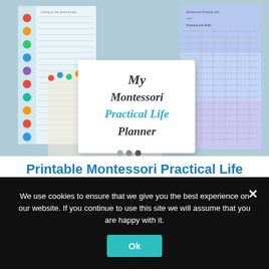[Figure (photo): Photo of Montessori Practical Life Planner printable materials fanned out on a light wood surface. In the center foreground is a white document titled 'My Montessori Practical Life Planner' in dark and teal script. Behind it are colorful polka-dot bordered sheets and tracker checklists with rainbow and watercolor designs.]
Printable Montessori Practical Life Activities Checklists
We use cookies to ensure that we give you the best experience on our website. If you continue to use this site we will assume that you are happy with it.
Ok